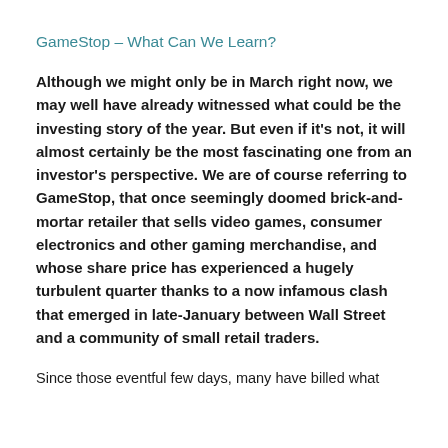GameStop – What Can We Learn?
Although we might only be in March right now, we may well have already witnessed what could be the investing story of the year. But even if it's not, it will almost certainly be the most fascinating one from an investor's perspective. We are of course referring to GameStop, that once seemingly doomed brick-and-mortar retailer that sells video games, consumer electronics and other gaming merchandise, and whose share price has experienced a hugely turbulent quarter thanks to a now infamous clash that emerged in late-January between Wall Street and a community of small retail traders.
Since those eventful few days, many have billed what